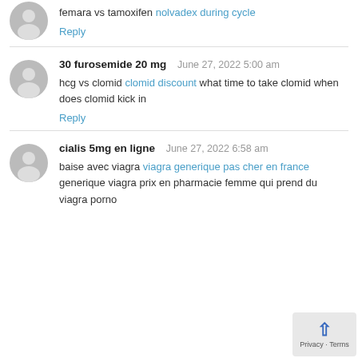femara vs tamoxifen nolvadex during cycle
Reply
30 furosemide 20 mg   June 27, 2022 5:00 am
hcg vs clomid clomid discount what time to take clomid when does clomid kick in
Reply
cialis 5mg en ligne   June 27, 2022 6:58 am
baise avec viagra viagra generique pas cher en france generique viagra prix en pharmacie femme qui prend du viagra porno